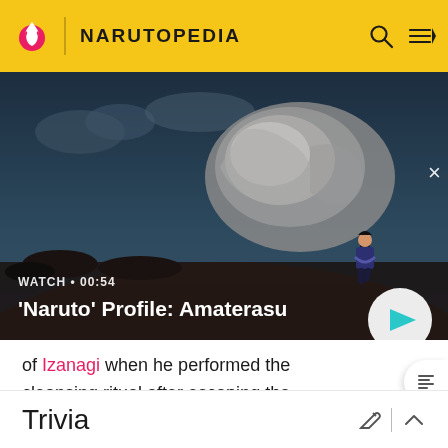NARUTOPEDIA
[Figure (screenshot): Anime scene from Naruto showing a character running from a large rock/meteor with a dark stormy sky background. Video thumbnail with play button overlay.]
WATCH • 00:54 — 'Naruto' Profile: Amaterasu
of Izanagi when he performed the cleansing ritual after escaping the underworld.
Trivia